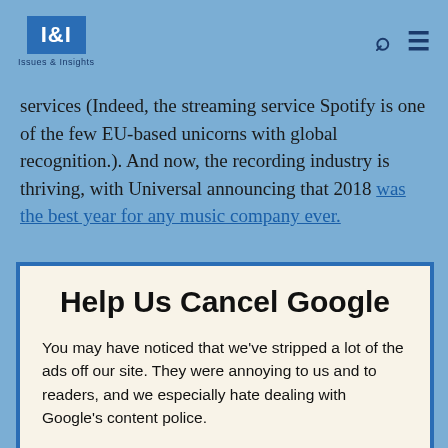I&I Issues & Insights
services (Indeed, the streaming service Spotify is one of the few EU-based unicorns with global recognition.). And now, the recording industry is thriving, with Universal announcing that 2018 was the best year for any music company ever.
Help Us Cancel Google
You may have noticed that we've stripped a lot of the ads off our site. They were annoying to us and to readers, and we especially hate dealing with Google's content police.
We'd rather rely on our readers to support our work directly than get pennies from giant ad networks.
We won't charge you to access our content, but you can help us keep this site going with a donation.